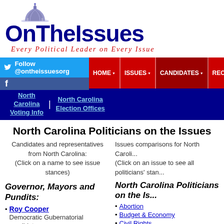[Figure (logo): OnTheIssues logo with dome graphic, title text and tagline 'Every Political Leader on Every Issue']
Follow @ontheissuesorg | HOME | ISSUES | CANDIDATES | RECENT | GRID
North Carolina Voting Info | North Carolina Election Offices
North Carolina Politicians on the Issues
Candidates and representatives from North Carolina: (Click on a name to see issue stances)
Issues comparisons for North Carolina (Click on an issue to see all politicians' stances)
Governor, Mayors and Pundits:
Roy Cooper Democratic Gubernatorial candidate
North Carolina Politicians on the Issues
Abortion
Budget & Economy
Civil Rights
Corporations
Crime
Drugs
Education